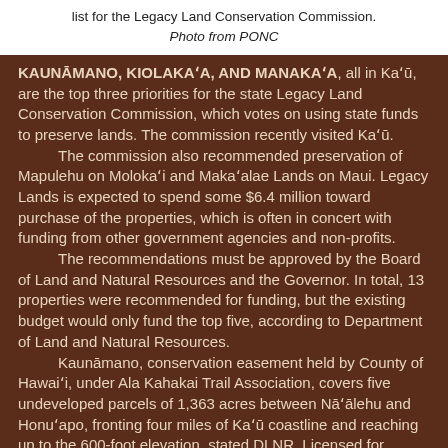list for the Legacy Land Conservation Commission.
Photo from PONC
KAUNĀMANO, KIOLAKAʻA, AND MANAKAʻA, all in Kaʻū, are the top three priorities for the state Legacy Land Conservation Commission, which votes on using state funds to preserve lands. The commission recently visited Kaʻū.
	The commission also recommended preservation of Mapulehu on Molokaʻi and Makaʻalae Lands on Maui. Legacy Lands is expected to spend some $6.4 million toward purchase of the properties, which is often in concert with funding from other government agencies and non-profits.
	The recommendations must be approved by the Board of Land and Natural Resources and the Governor. In total, 13 properties were recommended for funding, but the existing budget would only fund the top five, according to Department of Land and Natural Resources.
	Kaunāmano, conservation easement held by County of Hawaiʻi, under Ala Kahakai Trail Association, covers five undeveloped parcels of 1,363 acres between Nāʻālehu and Honuʻapo, fronting four miles of Kaʻū coastline and reaching up to the 600-foot elevation, stated DLNR. Licensed for...